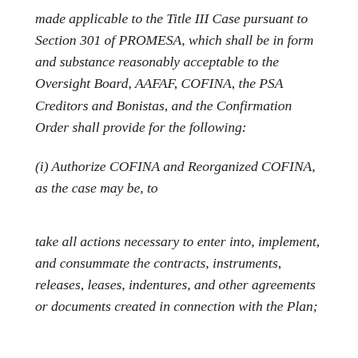made applicable to the Title III Case pursuant to Section 301 of PROMESA, which shall be in form and substance reasonably acceptable to the Oversight Board, AAFAF, COFINA, the PSA Creditors and Bonistas, and the Confirmation Order shall provide for the following:
(i) Authorize COFINA and Reorganized COFINA, as the case may be, to
take all actions necessary to enter into, implement, and consummate the contracts, instruments, releases, leases, indentures, and other agreements or documents created in connection with the Plan;